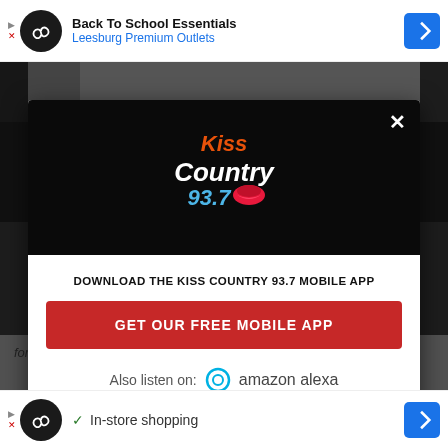[Figure (screenshot): Top advertisement banner for 'Back To School Essentials - Leesburg Premium Outlets' with infinity loop icon and blue diamond badge]
[Figure (screenshot): Dark modal popup for Kiss Country 93.7 radio station app download. Contains Kiss Country 93.7 logo, 'DOWNLOAD THE KISS COUNTRY 93.7 MOBILE APP' text, red 'GET OUR FREE MOBILE APP' button, and 'Also listen on: amazon alexa' with Alexa ring icon. Background shows blurred webpage content and a close X button.]
[Figure (screenshot): Bottom advertisement banner showing 'In-store shopping' with infinity loop icon and blue navigation badge]